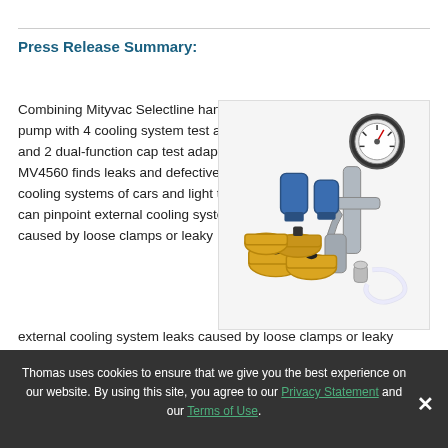Press Release Summary:
Combining Mityvac Selectline hand pressure pump with 4 cooling system test adapters and 2 dual-function cap test adapters, Model MV4560 finds leaks and defective caps in cooling systems of cars and light trucks. Unit can pinpoint external cooling system leaks caused by loose clamps or leaky
[Figure (photo): Product photo of Mityvac MV4560 cooling system test kit showing a hand pressure pump with gauge, blue and yellow adapters, and clear tubing]
Thomas uses cookies to ensure that we give you the best experience on our website. By using this site, you agree to our Privacy Statement and our Terms of Use.